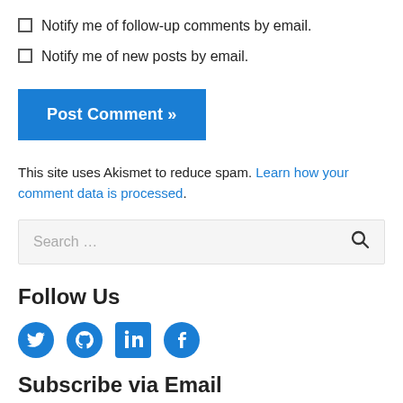Notify me of follow-up comments by email.
Notify me of new posts by email.
Post Comment »
This site uses Akismet to reduce spam. Learn how your comment data is processed.
Search …
Follow Us
[Figure (illustration): Social media icons: Twitter, GitHub, LinkedIn, Facebook]
Subscribe via Email